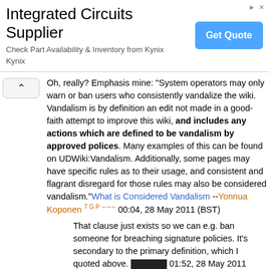[Figure (other): Advertisement banner for 'Integrated Circuits Supplier' from Kynix with a 'Get Quote' button]
Oh, really? Emphasis mine: "System operators may only warn or ban users who consistently vandalize the wiki. Vandalism is by definition an edit not made in a good-faith attempt to improve this wiki, and includes any actions which are defined to be vandalism by approved polices. Many examples of this can be found on UDWiki:Vandalism. Additionally, some pages may have specific rules as to their usage, and consistent and flagrant disregard for those rules may also be considered vandalism."What is Considered Vandalism --Yonnua Koponen T G P ~~~ 00:04, 28 May 2011 (BST)
That clause just exists so we can e.g. ban someone for breaching signature policies. It's secondary to the primary definition, which I quoted above. [redacted] 01:52, 28 May 2011 (BST)
I've actually been tracking this user but currently have yet to find any solid evidence linking them as a sockpuppet; if anyone has any evidence that it's a proxy then feel free to ban the IP. I'll make a proper ruling in the morning